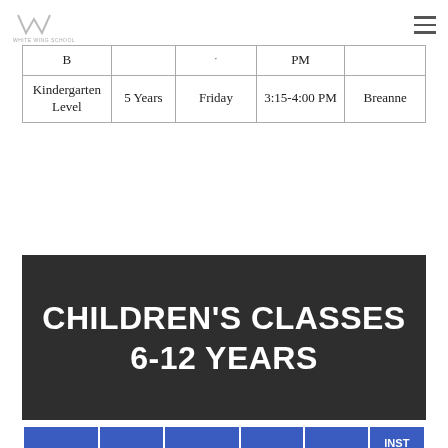Logo and navigation header
| Level | Age | Day | Time | Instructor |
| --- | --- | --- | --- | --- |
| B |  |  | PM |  |
| Kindergarten Level | 5 Years | Friday | 3:15-4:00 PM | Breanne |
CHILDREN'S CLASSES 6-12 YEARS
|  |  |  |  |  | INST |
| --- | --- | --- | --- | --- | --- |
|  |  |  |  |  | INST |